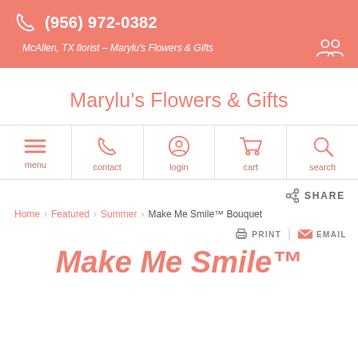(956) 972-0382 | McAllen, TX florist - Marylu's Flowers & Gifts
Marylu's Flowers & Gifts
[Figure (screenshot): Navigation bar with icons: menu, contact, login, cart, search]
SHARE
Home > Featured > Summer > Make Me Smile™ Bouquet
PRINT | EMAIL
Make Me Smile™